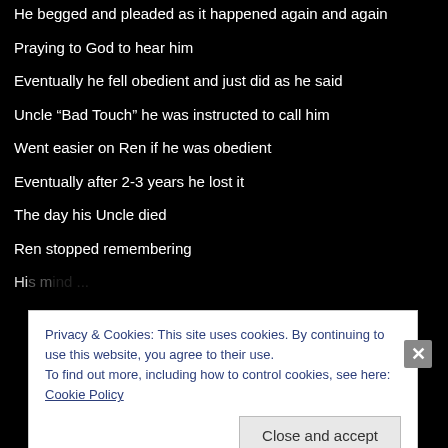He begged and pleaded as it happened again and again
Praying to God to hear him
Eventually he fell obedient and just did as he said
Uncle “Bad Touch” he was instructed to call him
Went easier on Ren if he was obedient
Eventually after 2-3 years he lost it
The day his Uncle died
Ren stopped remembering
Privacy & Cookies: This site uses cookies. By continuing to use this website, you agree to their use.
To find out more, including how to control cookies, see here: Cookie Policy
Close and accept